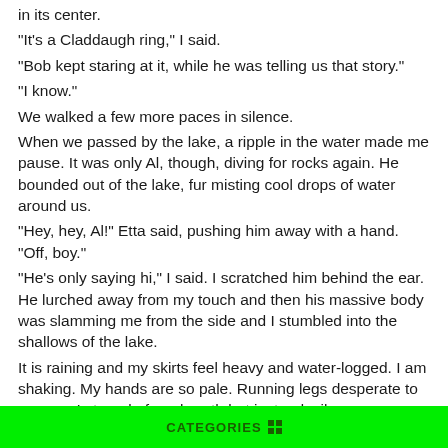in its center.
"It's a Claddaugh ring," I said.
"Bob kept staring at it, while he was telling us that story."
"I know."
We walked a few more paces in silence.
When we passed by the lake, a ripple in the water made me pause. It was only Al, though, diving for rocks again. He bounded out of the lake, fur misting cool drops of water around us.
"Hey, hey, Al!" Etta said, pushing him away with a hand. "Off, boy."
"He's only saying hi," I said. I scratched him behind the ear. He lurched away from my touch and then his massive body was slamming me from the side and I stumbled into the shallows of the lake.
It is raining and my skirts feel heavy and water-logged. I am shaking. My hands are so pale. Running legs desperate to escape. I struggle for a breath but instead, silence envelopes me. I watch the handkerchief floating away from my body and then sinking to the lake bottom—
CATEGORIES